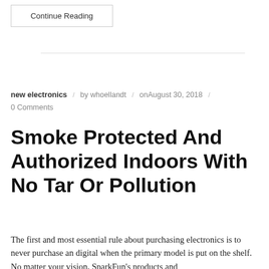Continue Reading
new electronics / by whoellandt / onAugust 30, 2018 / 0 Comments
Smoke Protected And Authorized Indoors With No Tar Or Pollution
The first and most essential rule about purchasing electronics is to never purchase an digital when the primary model is put on the shelf. No matter your vision, SparkFun's products and